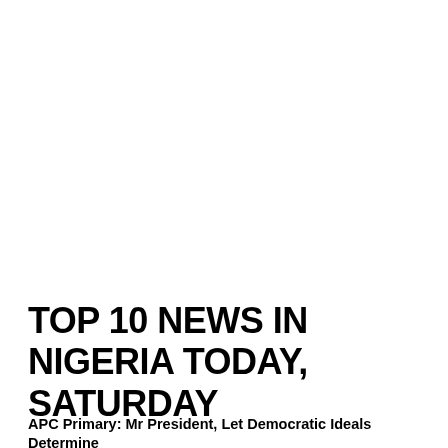TOP 10 NEWS IN NIGERIA TODAY, SATURDAY
APC Primary: Mr President, Let Democratic Ideals Determine